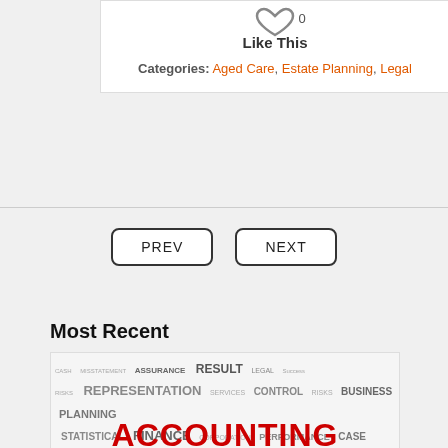[Figure (infographic): Heart icon with '0' count and 'Like This' label]
Categories: Aged Care, Estate Planning, Legal
PREV   NEXT (navigation buttons)
Most Recent
[Figure (infographic): Word cloud image with accounting/finance terms and red 'ACCOUNTING' text at the bottom]